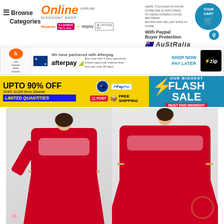Browse Categories | Online Discount Shop | Your Cart | Payment methods: humm, LAYBUY, zip pay, LATITUDE PAY
[Figure (infographic): Afterpay/Zip partnership banner: We have partnered with Afterpay. Buy now with 4 easy payments. Instant approval, interest-free and pay over 60 days. SHOP NOW PAY LATER. zip logo.]
[Figure (infographic): Flash sale promotional banner: UPTO 90% OFF, OVER 10,000 Items Sitewide, LIMITED QUANTITIES. PayPal, Australia POST, FREE SHIPPING logos. OUR BIGGEST FLASH SALE MUST END MIDNIGHT.]
[Figure (photo): Two product photos of a woman wearing a red embroidered dress with gold belt, shown from the front in two different poses.]